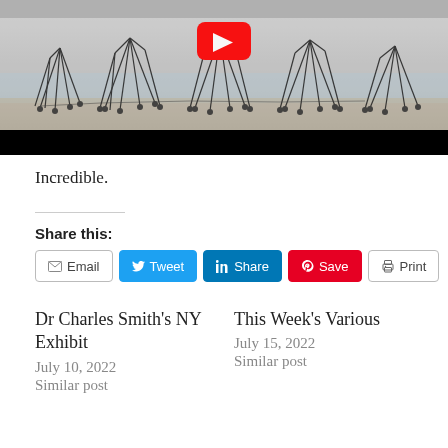[Figure (screenshot): YouTube video thumbnail showing black and white image of wire/mechanical structures on a beach or sandy surface, with a red YouTube play button overlay at the top center, and a black bar at the bottom.]
Incredible.
Share this:
Email  Tweet  Share  Save  Print
Dr Charles Smith's NY Exhibit
July 10, 2022
Similar post
This Week's Various
July 15, 2022
Similar post